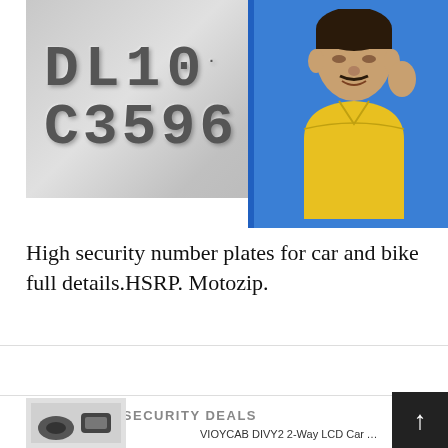[Figure (photo): License plate reading DL10 C3596 on the left, and a man in a yellow polo shirt on a blue background on the right]
High security number plates for car and bike full details.HSRP. Motozip.
CAR ALARM SECURITY DEALS
[Figure (photo): Car alarm product image at bottom left]
VIOYCAB DIVY2 2-Way LCD Car Alar...